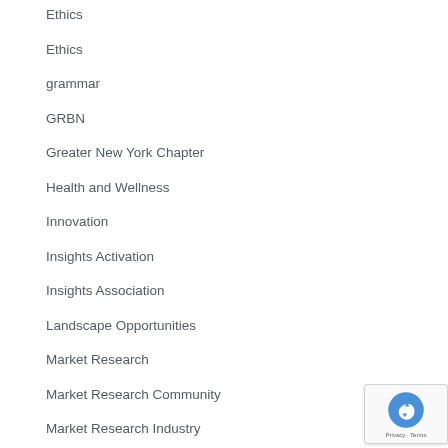Ethics
Ethics
grammar
GRBN
Greater New York Chapter
Health and Wellness
Innovation
Insights Activation
Insights Association
Landscape Opportunities
Market Research
Market Research Community
Market Research Industry
Marketing Research Trends
Marketing Science